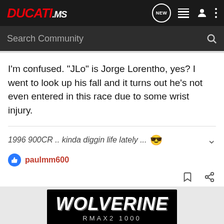DUCATI.ms
Search Community
I'm confused. "JLo" is Jorge Lorentho, yes? I went to look up his fall and it turns out he's not even entered in this race due to some wrist injury.
1996 900CR .. kinda diggin life lately ... 😎
paulmm600
[Figure (photo): Wolverine RMAX2 1000 advertisement banner]